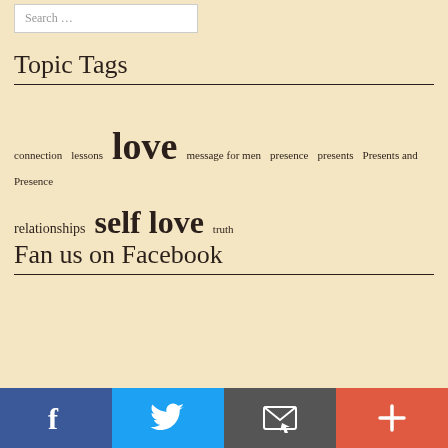Search …
Topic Tags
connection  lessons  love  message for men  presence  presents  Presents and Presence  relationships  self love  truth
Fan us on Facebook
[Figure (infographic): Social sharing bar with Facebook (blue), Twitter (light blue), Email (dark gray), and Plus/More (red-orange) buttons]